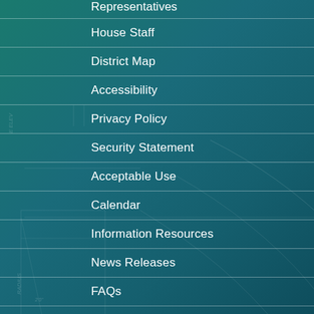Representatives
House Staff
District Map
Accessibility
Privacy Policy
Security Statement
Acceptable Use
Calendar
Information Resources
News Releases
FAQs
Contact Us
Committees
Programs
About
Watch Live